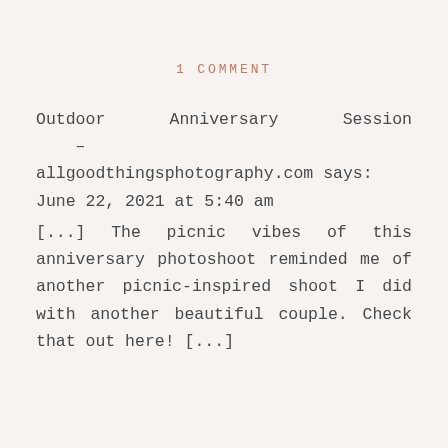1 COMMENT
Outdoor Anniversary Session – allgoodthingsphotography.com says:
June 22, 2021 at 5:40 am
[...] The picnic vibes of this anniversary photoshoot reminded me of another picnic-inspired shoot I did with another beautiful couple. Check that out here! [...]